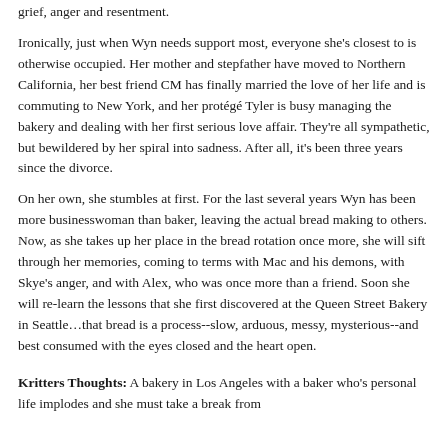grief, anger and resentment.
Ironically, just when Wyn needs support most, everyone she's closest to is otherwise occupied. Her mother and stepfather have moved to Northern California, her best friend CM has finally married the love of her life and is commuting to New York, and her protégé Tyler is busy managing the bakery and dealing with her first serious love affair. They're all sympathetic, but bewildered by her spiral into sadness. After all, it's been three years since the divorce.
On her own, she stumbles at first. For the last several years Wyn has been more businesswoman than baker, leaving the actual bread making to others. Now, as she takes up her place in the bread rotation once more, she will sift through her memories, coming to terms with Mac and his demons, with Skye's anger, and with Alex, who was once more than a friend. Soon she will re-learn the lessons that she first discovered at the Queen Street Bakery in Seattle…that bread is a process--slow, arduous, messy, mysterious--and best consumed with the eyes closed and the heart open.
Kritters Thoughts:  A bakery in Los Angeles with a baker who's personal life implodes and she must take a break from